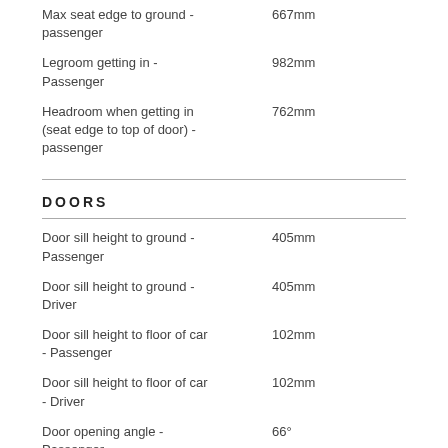Max seat edge to ground - passenger
Legroom getting in - Passenger
Headroom when getting in (seat edge to top of door) - passenger
DOORS
Door sill height to ground - Passenger
Door sill height to ground - Driver
Door sill height to floor of car - Passenger
Door sill height to floor of car - Driver
Door opening angle - Passenger
Door opening angle - Driver